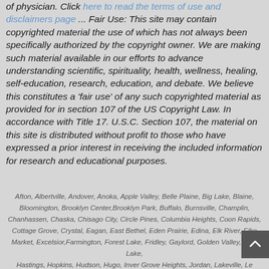of physician. Click here to read the terms of use and disclaimers page ... Fair Use: This site may contain copyrighted material the use of which has not always been specifically authorized by the copyright owner. We are making such material available in our efforts to advance understanding scientific, spirituality, health, wellness, healing, self-education, research, education, and debate. We believe this constitutes a 'fair use' of any such copyrighted material as provided for in section 107 of the US Copyright Law. In accordance with Title 17. U.S.C. Section 107, the material on this site is distributed without profit to those who have expressed a prior interest in receiving the included information for research and educational purposes.
Afton, Albertville, Andover, Anoka, Apple Valley, Belle Plaine, Big Lake, Blaine, Bloomington, Brooklyn Center, Brooklyn Park, Buffalo, Burnsville, Champlin, Chanhassen, Chaska, Chisago City, Circle Pines, Columbia Heights, Coon Rapids, Cottage Grove, Crystal, Eagan, East Bethel, Eden Prairie, Edina, Elk River, Elko Market, Excelsior, Farmington, Forest Lake, Fridley, Gaylord, Golden Valley, Ham Lake, Hastings, Hopkins, Hudson, Hugo, Inver Grove Heights, Jordan, Lakeville, Le Center, ...